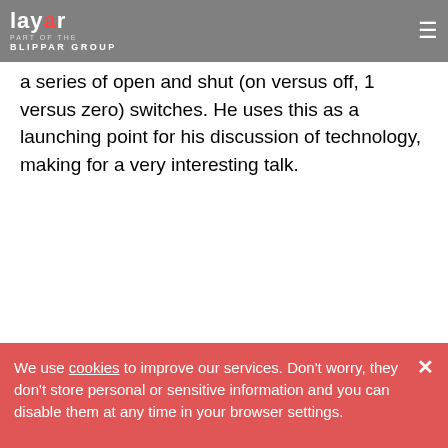layar | PART OF THE BLIPPAR GROUP
a series of open and shut (on versus off, 1 versus zero) switches. He uses this as a launching point for his discussion of technology, making for a very interesting talk.
We use cookies to improve our services. Don't worry, they don't store personal or sensitive information and you can disable them at any time in your browser settings.